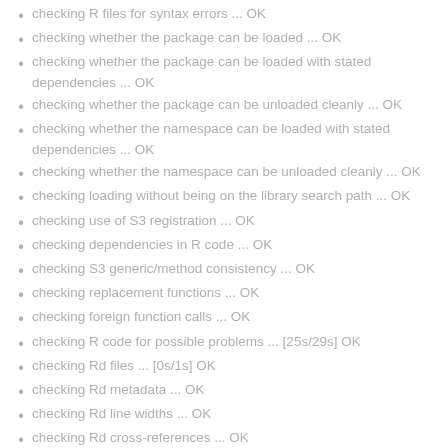checking R files for syntax errors ... OK
checking whether the package can be loaded ... OK
checking whether the package can be loaded with stated dependencies ... OK
checking whether the package can be unloaded cleanly ... OK
checking whether the namespace can be loaded with stated dependencies ... OK
checking whether the namespace can be unloaded cleanly ... OK
checking loading without being on the library search path ... OK
checking use of S3 registration ... OK
checking dependencies in R code ... OK
checking S3 generic/method consistency ... OK
checking replacement functions ... OK
checking foreign function calls ... OK
checking R code for possible problems ... [25s/29s] OK
checking Rd files ... [0s/1s] OK
checking Rd metadata ... OK
checking Rd line widths ... OK
checking Rd cross-references ... OK
checking for missing documentation entries ... OK
checking for code/documentation mismatches ... OK
checking Rd \usage sections ... OK